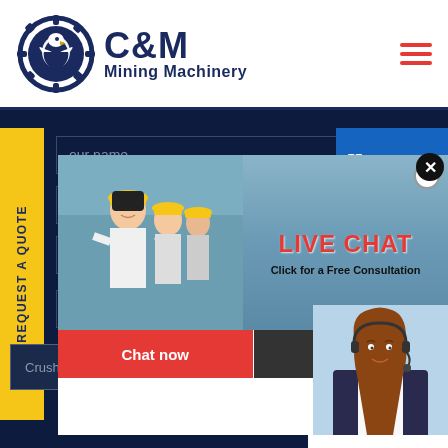[Figure (logo): C&M Mining Machinery logo with eagle in gear icon]
REQUEST A QUOTE
Your name
mail
Your Phone
Please Select!
[Figure (photo): Live Chat popup showing workers in hard hats and text LIVE CHAT Click for a Free Consultation with Chat now and Chat later buttons]
Hours
line
Click to Chat
Enquiry
Crusher Capacity(t/h)